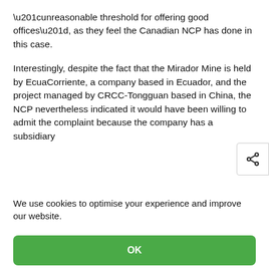“unreasonable threshold for offering good offices”, as they feel the Canadian NCP has done in this case.
Interestingly, despite the fact that the Mirador Mine is held by EcuaCorriente, a company based in Ecuador, and the project managed by CRCC-Tongguan based in China, the NCP nevertheless indicated it would have been willing to admit the complaint because the company has a subsidiary
We use cookies to optimise your experience and improve our website.
OK
Preferences